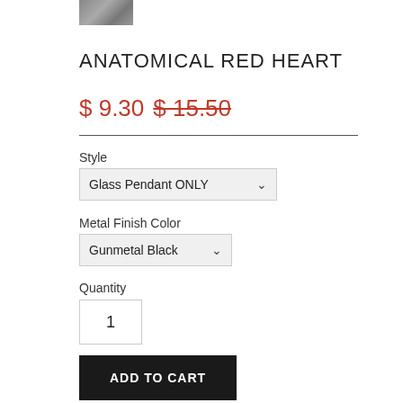[Figure (photo): Small thumbnail image of the anatomical red heart pendant product]
ANATOMICAL RED HEART
$ 9.30  $ 15.50 (strikethrough)
Style
Glass Pendant ONLY
Metal Finish Color
Gunmetal Black
Quantity
1
ADD TO CART